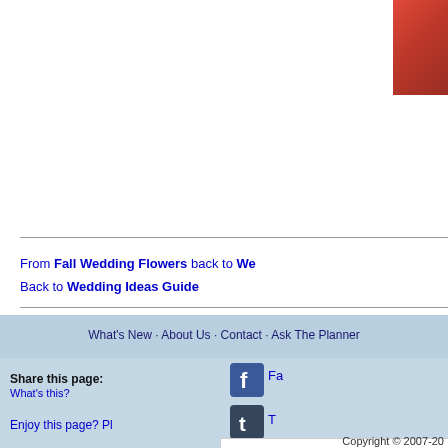[Figure (photo): Partial view of red flower photo in top-right corner]
From Fall Wedding Flowers back to We
Back to Wedding Ideas Guide
What's New | About Us | Contact | Ask The Planner
Share this page:
What's this?
Enjoy this page? Pl
Copyright © 2007-20